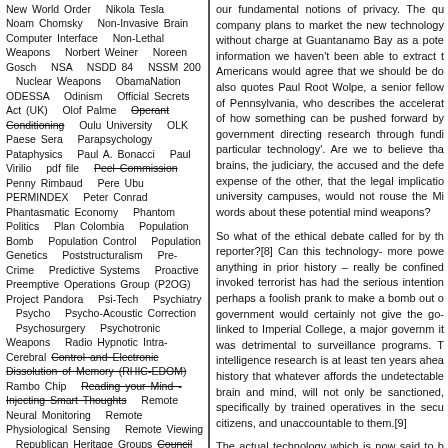New World Order  Nikola Tesla  Noam Chomsky  Non-Invasive Brain Computer Interface  Non-Lethal Weapons  Norbert Weiner  Noreen Gosch  NSA  NSDD 84  NSSM 200  Nuclear Weapons  ObamaNation  ODESSA  Odinism  Official Secrets Act (UK)  Olof Palme  Operant Conditioning  Oulu University  OLK  Paese Sera  Parapsychology  Pataphysics  Paul A. Bonacci  Paul Virilio  pdf file  Peel Commission  Penny Rimbaud  Pere Ubu  PERMINDEX  Peter Conrad  Phantasmatic Economy  Phantom Politics  Plan Colombia  Population Bomb  Population Control  Population Genetics  Poststructuralism  Pre-Crime  Predictive Systems  Proactive Preemptive Operations Group (P2OG)  Project Pandora  Psi-Tech  Psychiatry  Psycho  Psycho-Acoustic Correction  Psychosurgery  Psychotronic Weapons  Radio Hypnotic Intra-Cerebral Control and Electronic Dissolution of Memory (RHIC-EDOM)  Rambo Chip  Reading your Mind - Injecting Smart Thoughts  Remote Neural Monitoring  Remote Physiological Sensing  Remote Viewing  Republican Heritage Groups Council  Resistance  Rev. Sun Myung Moon  Revolution in Military Affairs (RMA)  RC Moloch  RHIC-EDOM
our fundamental notions of privacy. The company plans to market the new technology without charge at Guantanamo Bay as a potential information we haven't been able to extract t Americans would agree that we should be do also quotes Paul Root Wolpe, a senior fellow of Pennsylvania, who describes the accelerat of how something can be pushed forward by government directing research through fundi particular technology'. Are we to believe tha brains, the judiciary, the accused and the def expense of the other, that the legal implicatio university campuses, would not rouse the Mi words about these potential mind weapons?
So what of the ethical debate called for by th reporter?[8] Can this technology- more powe anything in prior history – really be confined invoked terrorist has had the serious intention perhaps a foolish prank to make a bomb out government would certainly not give the go- linked to Imperial College, a major governm it was detrimental to surveillance programs. intelligence research is at least ten years ahe history that whatever affords the undetectabl brain and mind, will not only be sanctioned, specifically by trained operatives in the secu citizens, and unaccountable to them.[9]
The actual technology which is now said to b between passing thoughts and genuine intent. Haynes in the Guardian in the most disarmin not have been intended to enlighten.
The Guardian piece ran as follows: